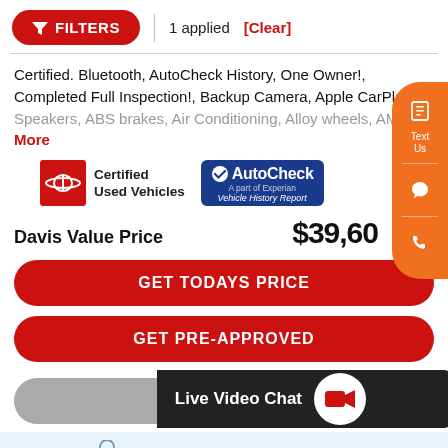[Figure (screenshot): Filter button (red pill) with funnel icon and 'FILTERS' text, followed by '1 applied' and red '[Clear]' link]
Certified. Bluetooth, AutoCheck History, One Owner!, Completed Full Inspection!, Backup Camera, Apple CarPlay, 6 Speakers, ABS brakes, Air Conditioning, Alloy wheels, AM/FM
More
[Figure (logo): Toyota Certified Used Vehicles badge (red square with Toyota logo) and AutoCheck Vehicle History Report badge (blue badge)]
Davis Value Price  $39,60
GET TODAYS PRICE
GET PRE-APPROVED
Live Video Chat
All with no impact to your credit score